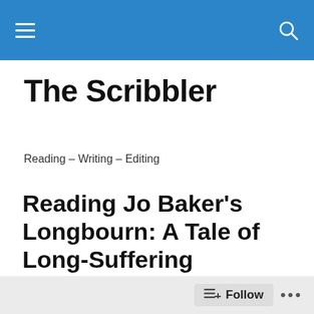The Scribbler — navigation bar with hamburger menu and search icon
The Scribbler
Reading – Writing – Editing
Reading Jo Baker's Longbourn: A Tale of Long-Suffering
SoCal in August can be quite comfortable if you like saunas.  Every morning, you shower and style your hair.  Clean and well groomed the way you like it.  Everything
Follow • • •